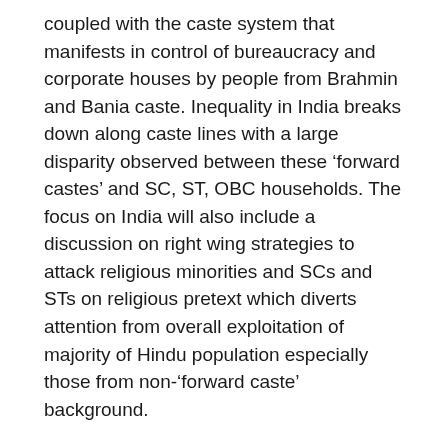coupled with the caste system that manifests in control of bureaucracy and corporate houses by people from Brahmin and Bania caste. Inequality in India breaks down along caste lines with a large disparity observed between these ‘forward castes’ and SC, ST, OBC households. The focus on India will also include a discussion on right wing strategies to attack religious minorities and SCs and STs on religious pretext which diverts attention from overall exploitation of majority of Hindu population especially those from non-‘forward caste’ background.
Mr. Karthikeyan also noted that in USA there has been significant interest in socialist ideas among youth with almost half of people aged 23 – 38 attracted to socialism. The conference will also discuss the issues around race and socialism in the USA.